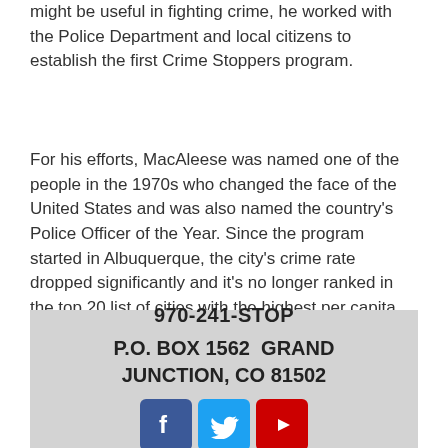might be useful in fighting crime, he worked with the Police Department and local citizens to establish the first Crime Stoppers program.
For his efforts, MacAleese was named one of the people in the 1970s who changed the face of the United States and was also named the country's Police Officer of the Year. Since the program started in Albuquerque, the city's crime rate dropped significantly and it's no longer ranked in the top 20 list of cities with the highest per capita crime rate.
970-241-STOP
P.O. BOX 1562  GRAND JUNCTION, CO 81502